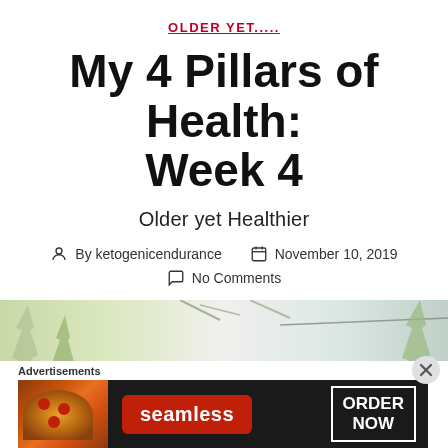OLDER YET.....
My 4 Pillars of Health: Week 4
Older yet Healthier
By ketogenicendurance   November 10, 2019
No Comments
[Figure (photo): Outdoor nature photo strip showing trees and sky]
[Figure (infographic): Seamless food delivery advertisement banner with pizza image, Seamless logo, and ORDER NOW button]